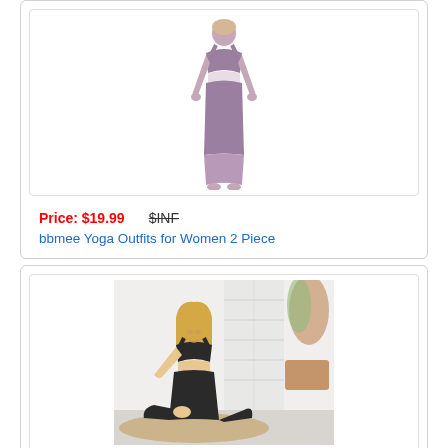[Figure (photo): Woman wearing purple/mauve two-piece yoga outfit consisting of a sports bra and high-waist leggings, standing against white background]
Price: $19.99    $INF
bbmee Yoga Outfits for Women 2 Piece
[Figure (photo): Woman with blonde hair wearing black two-piece yoga outfit (sports bra and leggings), sitting on a woven rug against a white wall with decorative plants]